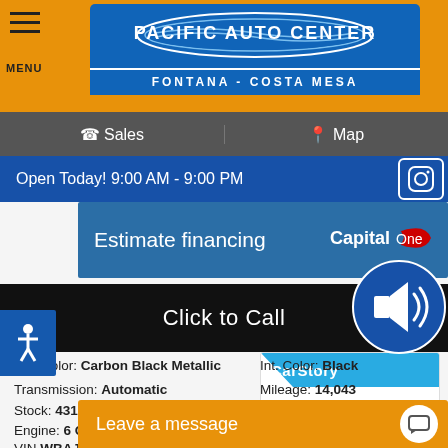[Figure (logo): Pacific Auto Center logo — blue banner with stylized oval car shape, white text 'PACIFIC AUTO CENTER', subtitle 'FONTANA - COSTA MESA' on blue background, on orange header bar]
MENU  |  Sales  |  Map
Open Today! 9:00 AM - 9:00 PM
Estimate financing
[Figure (logo): Capital One logo — red swoosh with 'Capital One' text in white/red on blue background]
Click to Call
[Figure (logo): CarStory badge — blue diagonal header with 'CarStory' text, below: 'This vehicle is a' in italic gray, 'GOOD DEAL' in bold black]
Ext. Color: Carbon Black Metallic    Int. Color: Black
Transmission: Automatic    Mileage: 14,043
Stock: 43116    Drivetrain: RWD
Engine: 6 Cylinders
VIN WBAJE5C56KWW
Leave a message